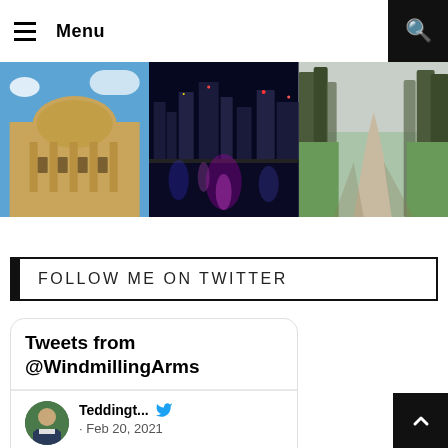Menu
[Figure (photo): Three photos in a horizontal strip: a neoclassical building dome against blue sky, a nighttime city skyline reflected in water with purple lights, and a park pathway with trees casting shadows on green grass.]
FOLLOW ME ON TWITTER
Tweets from @WindmillingArms
Teddingt... · Feb 20, 2021